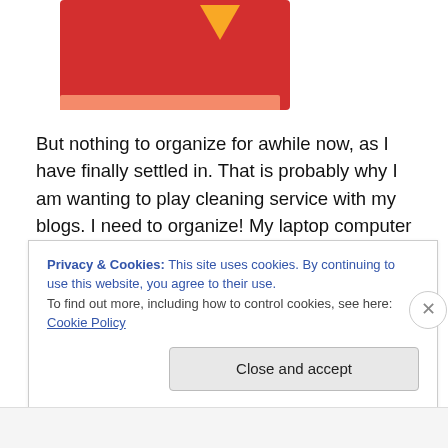[Figure (photo): Partial view of colorful toy blocks, showing red and yellow blocks against a white background.]
But nothing to organize for awhile now, as I have finally settled in. That is probably why I am wanting to play cleaning service with my blogs. I need to organize! My laptop computer has little or nothing to organize on it, as I use it mainly for email. Hey, wait, I can clean out my email, organize it, yeah! Okay, I feel better now, just knowing there is something I can sort through and straighten up. But I still want to do the blogs, too. But that's not quite as
Privacy & Cookies: This site uses cookies. By continuing to use this website, you agree to their use.
To find out more, including how to control cookies, see here: Cookie Policy
Close and accept